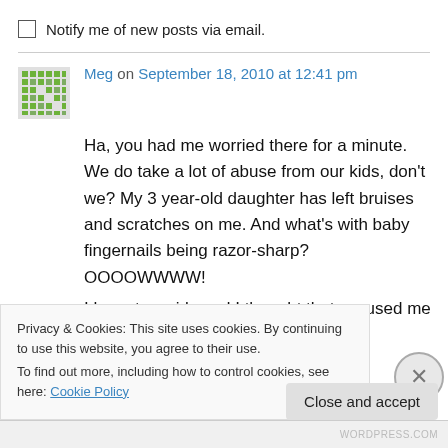Notify me of new posts via email.
Meg on September 18, 2010 at 12:41 pm
Ha, you had me worried there for a minute. We do take a lot of abuse from our kids, don't we? My 3 year-old daughter has left bruises and scratches on me. And what's with baby fingernails being razor-sharp? OOOOWWWW!
I have two girls and I thought that excused me
Privacy & Cookies: This site uses cookies. By continuing to use this website, you agree to their use.
To find out more, including how to control cookies, see here: Cookie Policy
Close and accept